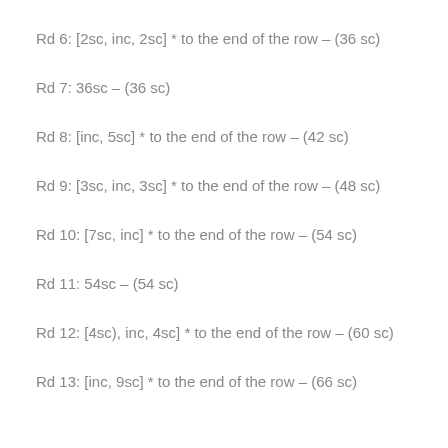Rd 6: [2sc, inc, 2sc] * to the end of the row – (36 sc)
Rd 7: 36sc – (36 sc)
Rd 8: [inc, 5sc] * to the end of the row – (42 sc)
Rd 9: [3sc, inc, 3sc] * to the end of the row – (48 sc)
Rd 10: [7sc, inc] * to the end of the row – (54 sc)
Rd 11: 54sc – (54 sc)
Rd 12: [4sc), inc, 4sc] * to the end of the row – (60 sc)
Rd 13: [inc, 9sc] * to the end of the row – (66 sc)